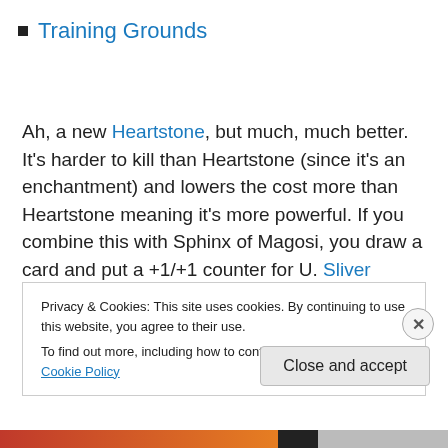Training Grounds
Ah, a new Heartstone, but much, much better. It's harder to kill than Heartstone (since it's an enchantment) and lowers the cost more than Heartstone meaning it's more powerful. If you combine this with Sphinx of Magosi, you draw a card and put a +1/+1 counter for U. Sliver Overlord on crack is really good. This is a great new card that you'll
Privacy & Cookies: This site uses cookies. By continuing to use this website, you agree to their use.
To find out more, including how to control cookies, see here: Cookie Policy
Close and accept